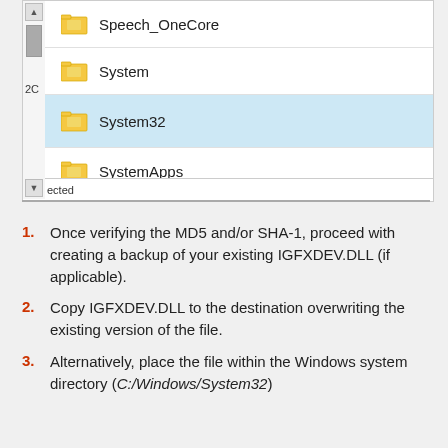[Figure (screenshot): Windows file explorer showing folder list with Speech_OneCore, System, System32 (selected/highlighted in blue), SystemApps entries. A vertical scrollbar is on the left side. Partial text labels visible on the left edge.]
Once verifying the MD5 and/or SHA-1, proceed with creating a backup of your existing IGFXDEV.DLL (if applicable).
Copy IGFXDEV.DLL to the destination overwriting the existing version of the file.
Alternatively, place the file within the Windows system directory (C:/Windows/System32)